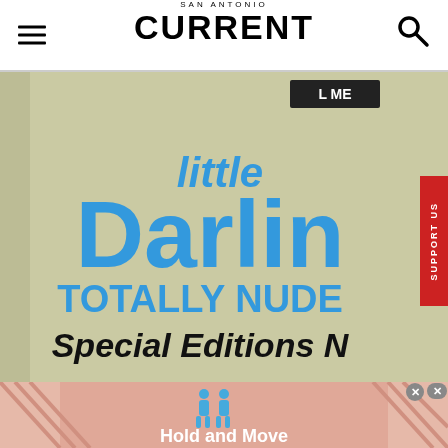SAN ANTONIO CURRENT
[Figure (photo): Photo of a box label reading 'little Darling TOTALLY NUDE Special Editions N' in blue and black text on a beige/cream background]
[Figure (infographic): Advertisement bar with two blue human figure icons and text 'Hold and Move' on a pink/salmon background, with close button icons in top right]